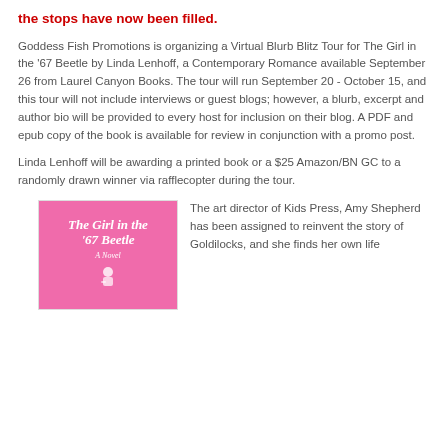the stops have now been filled.
Goddess Fish Promotions is organizing a Virtual Blurb Blitz Tour for The Girl in the '67 Beetle by Linda Lenhoff, a Contemporary Romance available September 26 from Laurel Canyon Books. The tour will run September 20 - October 15, and this tour will not include interviews or guest blogs; however, a blurb, excerpt and author bio will be provided to every host for inclusion on their blog. A PDF and epub copy of the book is available for review in conjunction with a promo post.
Linda Lenhoff will be awarding a printed book or a $25 Amazon/BN GC to a randomly drawn winner via rafflecopter during the tour.
[Figure (illustration): Book cover of 'The Girl in the '67 Beetle, A Novel' with pink background and illustrated female figure]
The art director of Kids Press, Amy Shepherd has been assigned to reinvent the story of Goldilocks, and she finds her own life